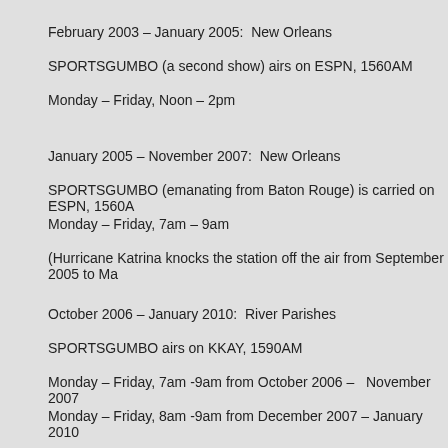February 2003 – January 2005:  New Orleans
SPORTSGUMBO (a second show) airs on ESPN, 1560AM
Monday – Friday, Noon – 2pm
January 2005 – November 2007:  New Orleans
SPORTSGUMBO (emanating from Baton Rouge) is carried on ESPN, 1560A
Monday – Friday, 7am – 9am
(Hurricane Katrina knocks the station off the air from September 2005 to Ma
October 2006 – January 2010:  River Parishes
SPORTSGUMBO airs on KKAY, 1590AM
Monday – Friday, 7am -9am from October 2006 –   November 2007
Monday – Friday, 8am -9am from December 2007 – January 2010